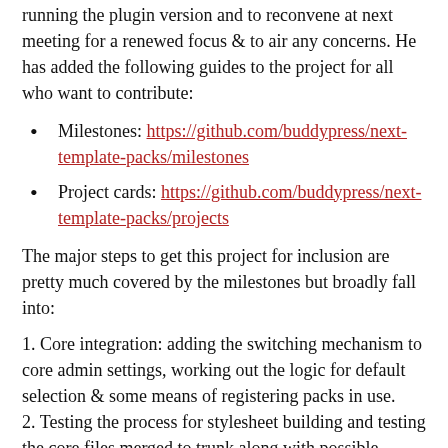running the plugin version and to reconvene at next meeting for a renewed focus & to air any concerns. He has added the following guides to the project for all who want to contribute:
Milestones: https://github.com/buddypress/next-template-packs/milestones
Project cards: https://github.com/buddypress/next-template-packs/projects
The major steps to get this project for inclusion are pretty much covered by the milestones but broadly fall into:
1. Core integration: adding the switching mechanism to core admin settings, working out the logic for default selection & some means of registering packs in use.
2. Testing the process for stylesheet building and testing the core files merged to trunk along with possible gruntfile adjustments required.
3. Testing of components by device( mobile/ desktop & browser versions) and testing